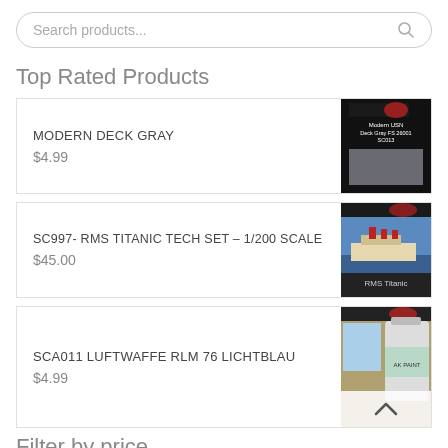Search products...
Top Rated Products
MODERN DECK GRAY
$4.99
SC997- RMS TITANIC TECH SET – 1/200 SCALE
$45.00
SCA011 LUFTWAFFE RLM 76 LICHTBLAU
$4.99
Filter by price